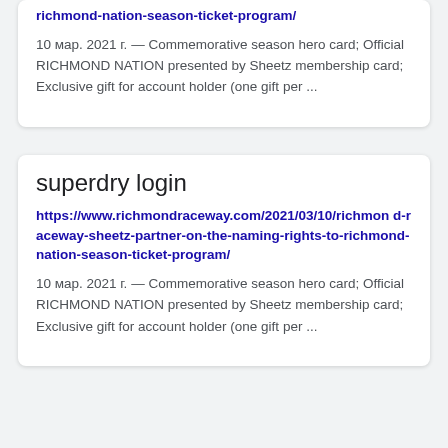richmond-nation-season-ticket-program/
10 мар. 2021 г. — Commemorative season hero card; Official RICHMOND NATION presented by Sheetz membership card; Exclusive gift for account holder (one gift per ...
superdry login
https://www.richmondraceway.com/2021/03/10/richmond-raceway-sheetz-partner-on-the-naming-rights-to-richmond-nation-season-ticket-program/
10 мар. 2021 г. — Commemorative season hero card; Official RICHMOND NATION presented by Sheetz membership card; Exclusive gift for account holder (one gift per ...